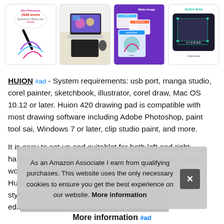[Figure (photo): Row of four product thumbnail images for a Huion drawing tablet: pen pressure levels graphic, tablet in use photo, software compatibility diagram, and active area diagram]
HUION #ad - System requirements: usb port, manga studio, corel painter, sketchbook, illustrator, corel draw, Mac OS 10.12 or later. Huion 420 drawing pad is compatible with most drawing software including Adobe Photoshop, paint tool sai, Windows 7 or later, clip studio paint, and more.
It is easy to set up and suitablet for both left and right handed users. It also can be used for playing osu game, word, signing doc[obscured] Huion [obscured] styl[obscured] edit[obscured]
As an Amazon Associate I earn from qualifying purchases. This website uses the only necessary cookies to ensure you get the best experience on our website. More information
More information